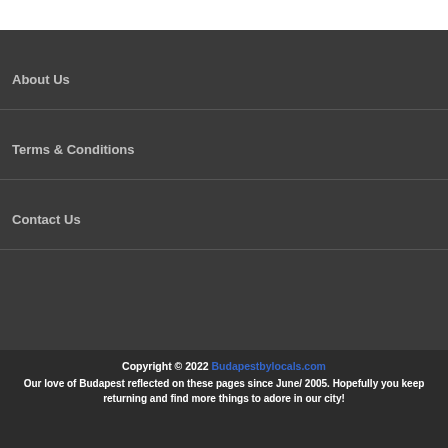About Us
Terms & Conditions
Contact Us
Copyright © 2022 Budapestbylocals.com
Our love of Budapest reflected on these pages since June/ 2005. Hopefully you keep returning and find more things to adore in our city!